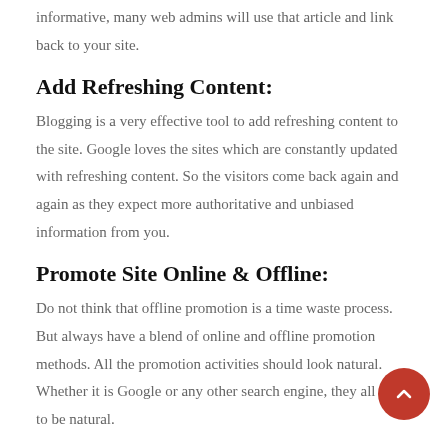informative, many web admins will use that article and link back to your site.
Add Refreshing Content:
Blogging is a very effective tool to add refreshing content to the site. Google loves the sites which are constantly updated with refreshing content. So the visitors come back again and again as they expect more authoritative and unbiased information from you.
Promote Site Online & Offline:
Do not think that offline promotion is a time waste process. But always have a blend of online and offline promotion methods. All the promotion activities should look natural. Whether it is Google or any other search engine, they all love to be natural.
Learn About Search Engine Optimization SEO